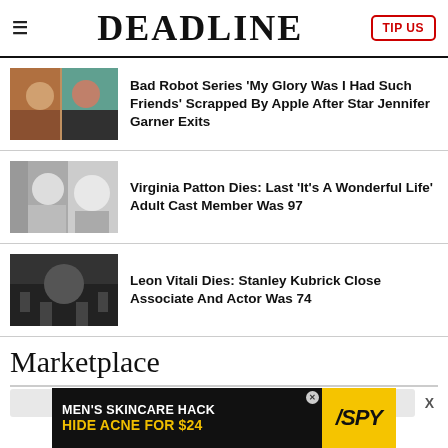DEADLINE | TIP US
Bad Robot Series 'My Glory Was I Had Such Friends' Scrapped By Apple After Star Jennifer Garner Exits
Virginia Patton Dies: Last 'It's A Wonderful Life' Adult Cast Member Was 97
Leon Vitali Dies: Stanley Kubrick Close Associate And Actor Was 74
Marketplace
[Figure (photo): Advertisement banner: MEN'S SKINCARE HACK HIDE ACNE FOR $24 - SPY]